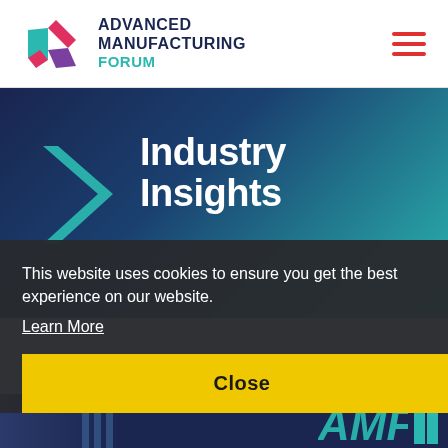[Figure (logo): Advanced Manufacturing Forum logo with stylized X mark in red, pink, purple colors and text 'ADVANCED MANUFACTURING FORUM' in dark navy and teal]
[Figure (screenshot): Hamburger menu icon with three red horizontal lines]
Industry Insights
This website uses cookies to ensure you get the best experience on our website.
Learn More
Close
[Figure (screenshot): Bottom strip showing partial AMF logo in teal on dark navy background]